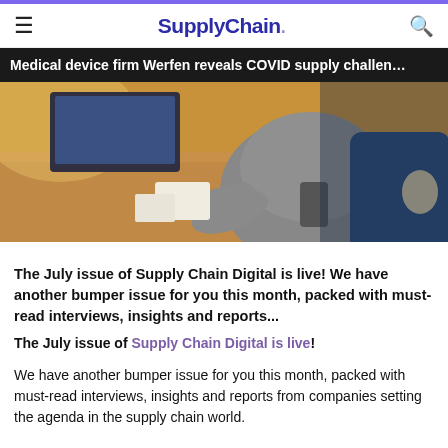SupplyChain.
Medical device firm Werfen reveals COVID supply challen…
[Figure (photo): Person sitting at a desk working, photographed from behind/side, wearing a grey top, with a monitor and desk items visible.]
The July issue of Supply Chain Digital is live! We have another bumper issue for you this month, packed with must-read interviews, insights and reports...
The July issue of Supply Chain Digital is live!
We have another bumper issue for you this month, packed with must-read interviews, insights and reports from companies setting the agenda in the supply chain world.